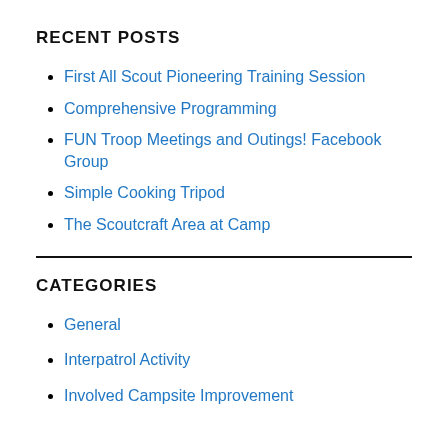RECENT POSTS
First All Scout Pioneering Training Session
Comprehensive Programming
FUN Troop Meetings and Outings! Facebook Group
Simple Cooking Tripod
The Scoutcraft Area at Camp
CATEGORIES
General
Interpatrol Activity
Involved Campsite Improvement